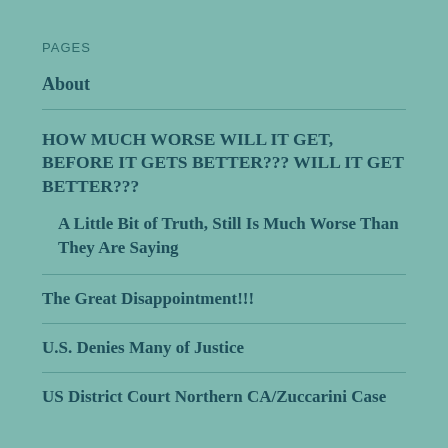PAGES
About
HOW MUCH WORSE WILL IT GET, BEFORE IT GETS BETTER??? WILL IT GET BETTER???
A Little Bit of Truth, Still Is Much Worse Than They Are Saying
The Great Disappointment!!!
U.S. Denies Many of Justice
US District Court Northern CA/Zuccarini Case